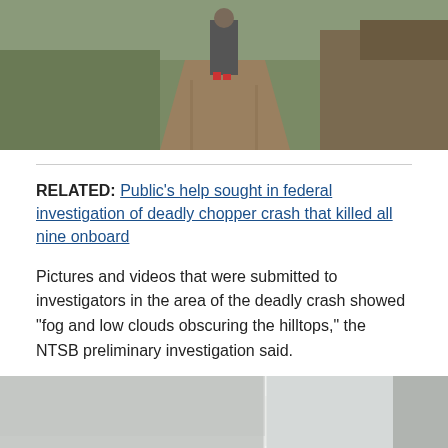[Figure (photo): Outdoor scene showing a person walking on a dirt path through grassy terrain with brown shrubs/trees in the background]
RELATED: Public's help sought in federal investigation of deadly chopper crash that killed all nine onboard
Pictures and videos that were submitted to investigators in the area of the deadly crash showed "fog and low clouds obscuring the hilltops," the NTSB preliminary investigation said.
[Figure (photo): Foggy landscape with low clouds obscuring hilltops; a composite of three images side by side showing misty conditions]